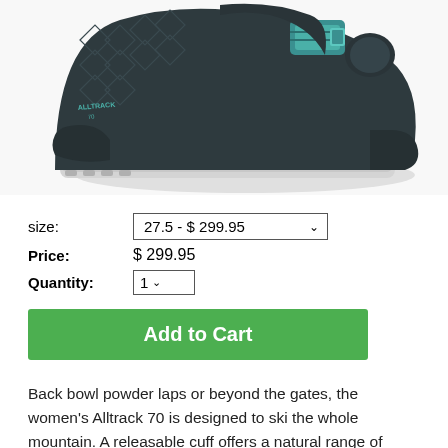[Figure (photo): Dark grey/charcoal women's Rossignol Alltrack 70 ski boot with teal/mint accents and white sole, shown from the side]
size: 27.5 - $ 299.95
Price: $ 299.95
Quantity: 1
Add to Cart
Back bowl powder laps or beyond the gates, the women's Alltrack 70 is designed to ski the whole mountain. A releasable cuff offers a natural range of